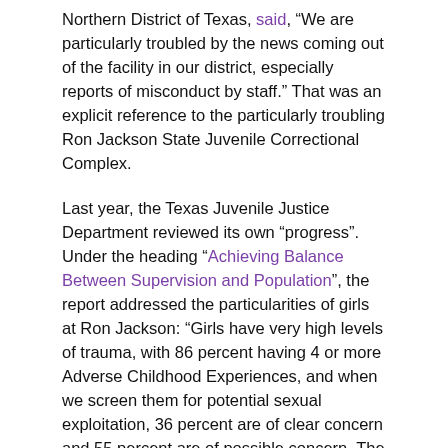Northern District of Texas, said, "We are particularly troubled by the news coming out of the facility in our district, especially reports of misconduct by staff." That was an explicit reference to the particularly troubling Ron Jackson State Juvenile Correctional Complex.
Last year, the Texas Juvenile Justice Department reviewed its own “progress”. Under the heading “Achieving Balance Between Supervision and Population”, the report addressed the particularities of girls at Ron Jackson: “Girls have very high levels of trauma, with 86 percent having 4 or more Adverse Childhood Experiences, and when we screen them for potential sexual exploitation, 36 percent are of clear concern and 55 percent are of possible concern. The small number of girls in state care quite often have an intense level of trauma that causes them to respond automatically and aggressively to stressors. Girls need an overall ratio of 1 direct-care staff member to 6 girls; for the most violent youth and those with significant mental health needs, that ratio is 1 to 4. Of girls in secure facilities 63 percent have been placed on suicide alert at least once, that is in the amount of TYC years, the